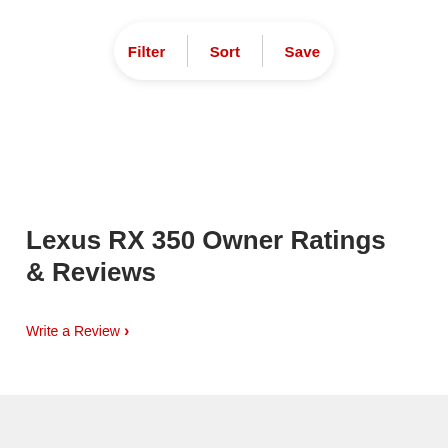[Figure (screenshot): Filter/Sort/Save button bar with rounded pill shape and red text labels]
Lexus RX 350 Owner Ratings & Reviews
Write a Review >
[Figure (screenshot): Partial rating score card showing large numbers partially visible at bottom, gray background section]